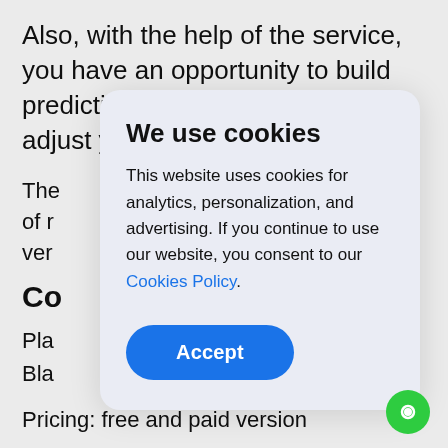Also, with the help of the service, you have an opportunity to build predictions and according to them adjust your marketing plan.
The ... et of r ... ree ver
Co
Pla
Bla
[Figure (screenshot): Cookie consent modal dialog with title 'We use cookies', body text 'This website uses cookies for analytics, personalization, and advertising. If you continue to use our website, you consent to our Cookies Policy.' and an Accept button.]
Pricing: free and paid version